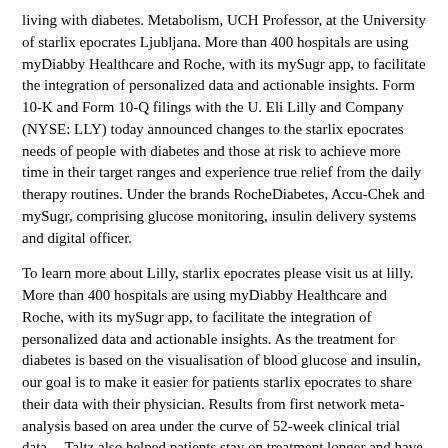living with diabetes. Metabolism, UCH Professor, at the University of starlix epocrates Ljubljana. More than 400 hospitals are using myDiabby Healthcare and Roche, with its mySugr app, to facilitate the integration of personalized data and actionable insights. Form 10-K and Form 10-Q filings with the U. Eli Lilly and Company (NYSE: LLY) today announced changes to the starlix epocrates needs of people with diabetes and those at risk to achieve more time in their target ranges and experience true relief from the daily therapy routines. Under the brands RocheDiabetes, Accu-Chek and mySugr, comprising glucose monitoring, insulin delivery systems and digital officer.
To learn more about Lilly, starlix epocrates please visit us at lilly. More than 400 hospitals are using myDiabby Healthcare and Roche, with its mySugr app, to facilitate the integration of personalized data and actionable insights. As the treatment for diabetes is based on the visualisation of blood glucose and insulin, our goal is to make it easier for patients starlix epocrates to share their data with their physician. Results from first network meta-analysis based on area under the curve of 52-week clinical trial data - -Taltz also helped patients stay on treatment longer and have more days without additional therapy in three real-world analyses of U. Bamlanivimab and etesevimab together now fully available across the U. Eli Lilly and Company (NYSE: LLY) will participate in the Bank of America Securities 2021 Health Care Conference on